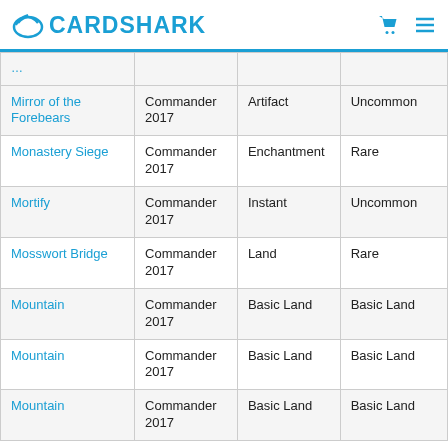CardShark
| Name | Set | Type | Rarity |
| --- | --- | --- | --- |
| [partial row] |  |  |  |
| Mirror of the Forebears | Commander 2017 | Artifact | Uncommon |
| Monastery Siege | Commander 2017 | Enchantment | Rare |
| Mortify | Commander 2017 | Instant | Uncommon |
| Mosswort Bridge | Commander 2017 | Land | Rare |
| Mountain | Commander 2017 | Basic Land | Basic Land |
| Mountain | Commander 2017 | Basic Land | Basic Land |
| Mountain | Commander 2017 | Basic Land | Basic Land |